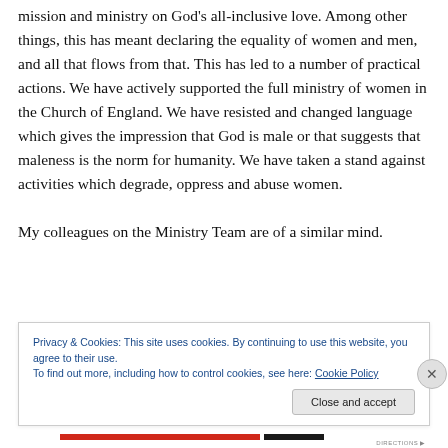mission and ministry on God's all-inclusive love. Among other things, this has meant declaring the equality of women and men, and all that flows from that. This has led to a number of practical actions. We have actively supported the full ministry of women in the Church of England. We have resisted and changed language which gives the impression that God is male or that suggests that maleness is the norm for humanity. We have taken a stand against activities which degrade, oppress and abuse women.
My colleagues on the Ministry Team are of a similar mind.
Privacy & Cookies: This site uses cookies. By continuing to use this website, you agree to their use.
To find out more, including how to control cookies, see here: Cookie Policy